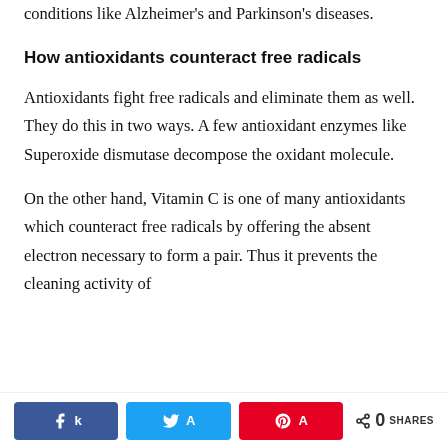conditions like Alzheimer's and Parkinson's diseases.
How antioxidants counteract free radicals
Antioxidants fight free radicals and eliminate them as well. They do this in two ways. A few antioxidant enzymes like Superoxide dismutase decompose the oxidant molecule.
On the other hand, Vitamin C is one of many antioxidants which counteract free radicals by offering the absent electron necessary to form a pair. Thus it prevents the cleaning activity of